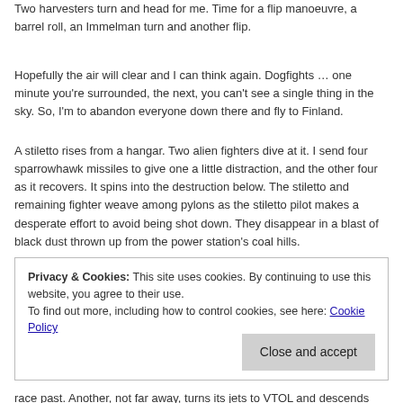Two harvesters turn and head for me. Time for a flip manoeuvre, a barrel roll, an Immelman turn and another flip.
Hopefully the air will clear and I can think again. Dogfights … one minute you're surrounded, the next, you can't see a single thing in the sky. So, I'm to abandon everyone down there and fly to Finland.
A stiletto rises from a hangar. Two alien fighters dive at it. I send four sparrowhawk missiles to give one a little distraction, and the other four as it recovers. It spins into the destruction below. The stiletto and remaining fighter weave among pylons as the stiletto pilot makes a desperate effort to avoid being shot down. They disappear in a blast of black dust thrown up from the power station's coal hills.
Privacy & Cookies: This site uses cookies. By continuing to use this website, you agree to their use.
To find out more, including how to control cookies, see here: Cookie Policy
race past. Another, not far away, turns its jets to VTOL and descends